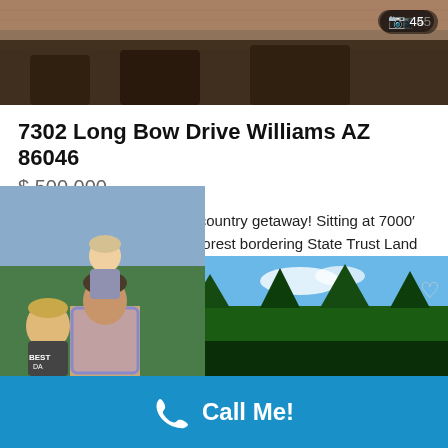[Figure (photo): Top photo of a property exterior, showing reddish-brown ground/dirt area with trees in background. Photo counter shows camera icon and 45 in top right.]
7302 Long Bow Drive Williams AZ 86046
$ 500,000
Welcome to your new high country getaway! Sitting at 7000' in the cool ponderosa pine forest bordering State Trust Land for addl privacy, this amazing property won't last long. Sitting way off Long Bow, the Main cabin has 2 BRs and 1 bath completely furnished at 1108...
1 bath
[Figure (photo): Photo of a man with two children overlaid on the listing card, partially covering lower text area. Below, a second property photo shows pine trees and blue sky.]
Call Me!